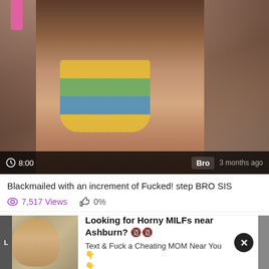[Figure (photo): Video thumbnail showing a person, with a dark overlay bar at bottom showing duration 8:00, channel tag 'Bro', and '3 months ago']
Blackmailed with an increment of Fucked! step BRO SIS
7,517 Views   0%
[Figure (photo): Advertisement image showing a woman sitting in a chair outdoors]
Looking for Horny MILFs near Ashburn? 🔞🔞
Text & Fuck a Cheating MOM Near You 👇
👇